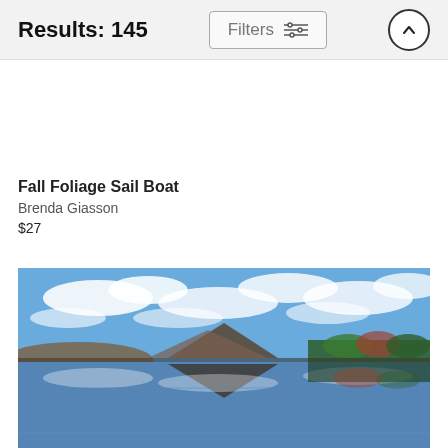Results: 145
Fall Foliage Sail Boat
Brenda Giasson
$27
[Figure (photo): Landscape photo showing a mountain reflected in a still lake, with dramatic blue sky with white clouds, autumn foliage trees on the right, and mountains in the background.]